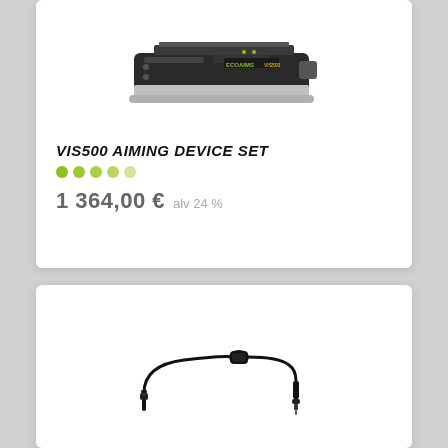[Figure (photo): Photo of VIS500 aiming device, a black elongated device with silver rail at top, screws visible on side, EcoAims VIS500 branding, on white background]
VIS500 AIMING DEVICE SET
[Figure (infographic): Five dots indicating rating/availability, ranging from bright green (leftmost) to light green (rightmost)]
1 364,00 €  alv 24 %
[Figure (photo): Photo of a short audio cable with 3.5mm angled plug on one end, small inline control module in middle, and straight plug on other end, on white background]